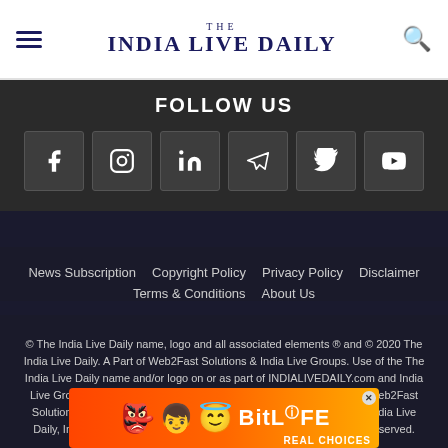THE INDIA LIVE DAILY
FOLLOW US
[Figure (infographic): Six social media icon buttons: Facebook, Instagram, LinkedIn, Telegram, Twitter, YouTube]
News Subscription   Copyright Policy   Privacy Policy   Disclaimer   Terms & Conditions   About Us
© The India Live Daily name, logo and all associated elements ® and © 2020 The India Live Daily. A Part of Web2Fast Solutions & India Live Groups. Use of the The India Live Daily name and/or logo on or as part of INDIALIVEDAILY.com and India Live Groups does not derogate from the intellectual property rights of Web2Fast Solutions or The India Live Daily in respect of them. © Copyright The India Live Daily, India Live Groups and Web2Fast Solutions 2020. All rights are reserved.
[Figure (illustration): BitLife advertisement banner with animated emoji characters and 'REAL CHOICES' text]